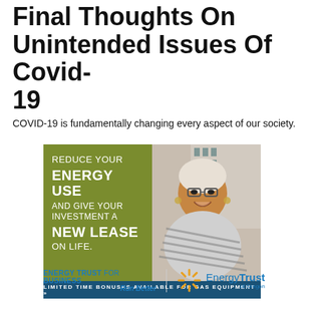Final Thoughts On Unintended Issues Of Covid-19
COVID-19 is fundamentally changing every aspect of our society.
[Figure (infographic): Energy Trust of Oregon advertisement. Olive/green left panel with white text reading: REDUCE YOUR ENERGY USE AND GIVE YOUR INVESTMENT A NEW LEASE ON LIFE. Right panel shows photo of smiling woman with short grey hair and glasses. Dark blue bottom banner reads: LIMITED TIME BONUSES AVAILABLE FOR GAS EQUIPMENT »]
[Figure (logo): Energy Trust of Oregon logo with text: ENERGY TRUST for BUSINESS / Run Better | EnergyTrust of Oregon with orange starburst icon]